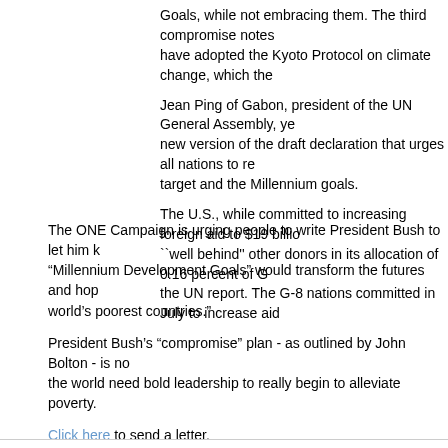Goals, while not embracing them. The third compromise notes have adopted the Kyoto Protocol on climate change, which the
Jean Ping of Gabon, president of the UN General Assembly, ye new version of the draft declaration that urges all nations to re target and the Millennium goals.
The U.S., while committed to increasing foreign aid to $19 billio ``well behind'' other donors in its allocation of 0.16 percent of G the UN report. The G-8 nations committed in July to increase aid
The ONE Campaign is urging people to write President Bush to let him k “Millennium Development Goals” would transform the futures and hop world’s poorest countries.”
President Bush’s “compromise” plan - as outlined by John Bolton - is no the world need bold leadership to really begin to alleviate poverty.
Click here to send a letter.
The UN Millennium Development Goals have been endorsed by the Na and the World Council of Churches.
Related Link: UN Millennium Development Goals